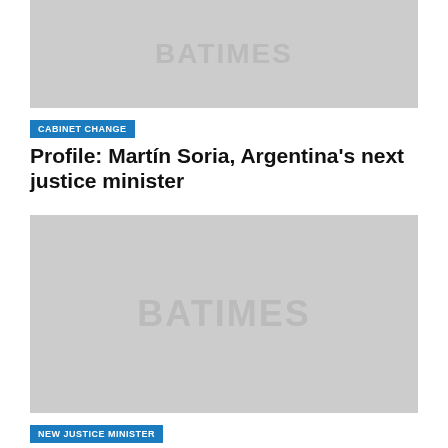[Figure (photo): Placeholder image with BATIMES watermark, gray background, top card]
CABINET CHANGE
Profile: Martín Soria, Argentina's next justice minister
[Figure (photo): Placeholder image with BATIMES watermark, gray background, bottom card]
NEW JUSTICE MINISTER
Martín Soria named new justice